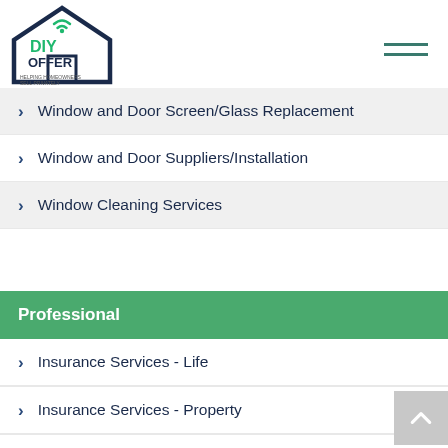DIY OFFER - helping homeowners sell privately
Window and Door Screen/Glass Replacement
Window and Door Suppliers/Installation
Window Cleaning Services
Professional
Insurance Services - Life
Insurance Services - Property
Land Surveyor